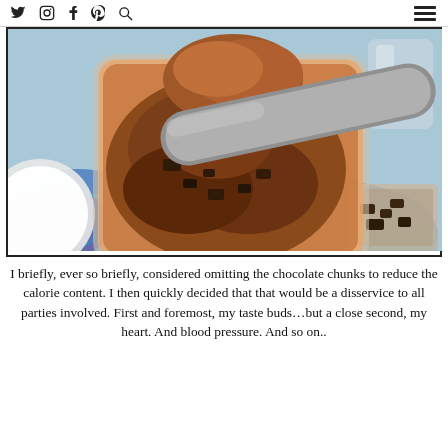social media icons: twitter, instagram, facebook, pinterest, search, hamburger menu
[Figure (photo): Top-down view of a container of chocolate ice cream being scooped with a metal ice cream scoop, surrounded by a colorful blue/purple patterned cloth, a white plate, and chocolate chunks in a bag.]
I briefly, ever so briefly, considered omitting the chocolate chunks to reduce the calorie content. I then quickly decided that that would be a disservice to all parties involved. First and foremost, my taste buds…but a close second, my heart. And blood pressure. And so on..